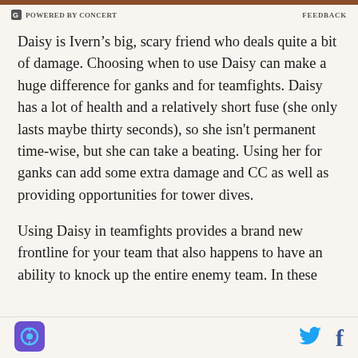POWERED BY CONCERT    FEEDBACK
Daisy is Ivern’s big, scary friend who deals quite a bit of damage. Choosing when to use Daisy can make a huge difference for ganks and for teamfights. Daisy has a lot of health and a relatively short fuse (she only lasts maybe thirty seconds), so she isn't permanent time-wise, but she can take a beating. Using her for ganks can add some extra damage and CC as well as providing opportunities for tower dives.
Using Daisy in teamfights provides a brand new frontline for your team that also happens to have an ability to knock up the entire enemy team. In these